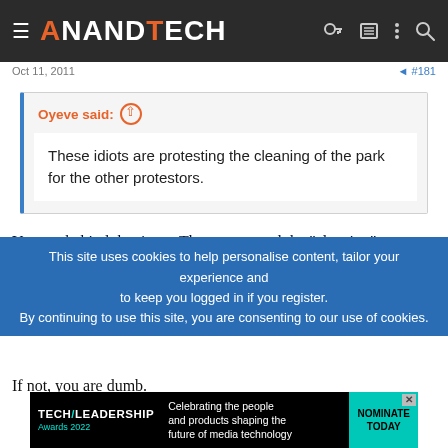AnandTech
Oct 11, 2011
Oyeve said: ↑

These idiots are protesting the cleaning of the park for the other protestors.
You are behind the times. They postponed the "cleaning" indefinitely.
You know as well as I do that the "cleaning" was an effort to shake things up to see if they could break them up a bit.
If not, you are dumb.
This site uses cookies to help personalise content, tailor your experience and to keep you logged in if you register.
By continuing to use this site, you are consenting to our use of cookies.
[Figure (infographic): Tech/Leadership Awards 2022 advertisement banner: Celebrating the people and products shaping the future of media technology. NOMINATE TODAY button.]